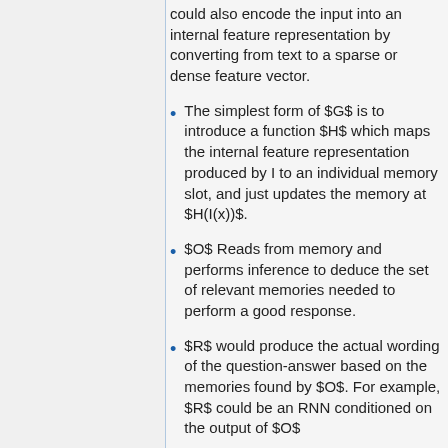could also encode the input into an internal feature representation by converting from text to a sparse or dense feature vector.
The simplest form of $G$ is to introduce a function $H$ which maps the internal feature representation produced by I to an individual memory slot, and just updates the memory at $H(I(x))$.
$O$ Reads from memory and performs inference to deduce the set of relevant memories needed to perform a good response.
$R$ would produce the actual wording of the question-answer based on the memories found by $O$. For example, $R$ could be an RNN conditioned on the output of $O$